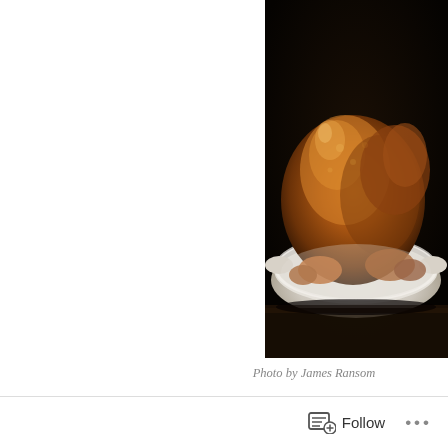[Figure (photo): A roasted golden-brown turkey in a white oval roasting dish, photographed against a dark background]
Photo by James Ransom
Every year I make the same meal for Thanksgiving, there because everyone loves it that way. It makes things easier the shopping and of course the preparation. I try to make save myself work on the big day. This will be Percy's fir giving him a plate of food along with the rest of my gues cousins will be joining me as well. My menu is very basi homemade and has withstood the test of time. The dishes posts so that you can see the recipes. Mashed potatoes, w potatoes have not lumps I use the food mill and then sim
Follow ...